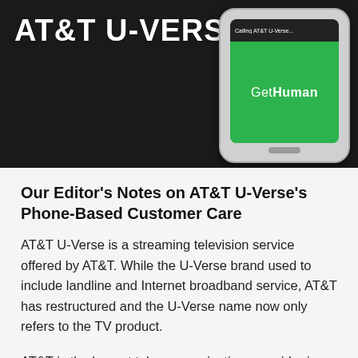[Figure (screenshot): Hero image showing AT&T U-VERSE text on dark background with a smartphone displaying a green screen with 'Calling AT&T U-Verse...' notification and GetHuman branding]
Our Editor's Notes on AT&T U-Verse's Phone-Based Customer Care
AT&T U-Verse is a streaming television service offered by AT&T. While the U-Verse brand used to include landline and Internet broadband service, AT&T has restructured and the U-Verse name now only refers to the TV product.
AT&T is the largest telecommunications provider in the world, which means that it gets a huge number of